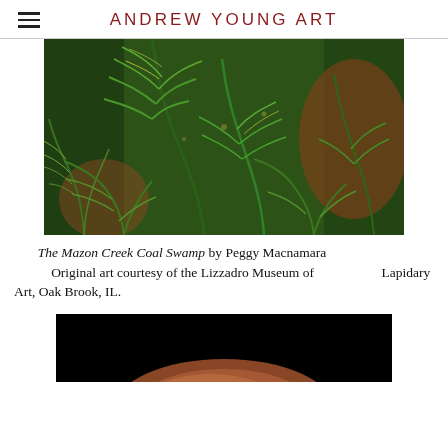ANDREW YOUNG ART
[Figure (illustration): Painting of The Mazon Creek Coal Swamp by Peggy Macnamara — dense ferns and prehistoric swamp vegetation in greens, yellows, and browns]
The Mazon Creek Coal Swamp by Peggy Macnamara
            Original art courtesy of the Lizzadro Museum of                        Lapidary Art, Oak Brook, IL.
[Figure (photo): Partial view of a fossil or rock specimen on a black background, partially cropped at the bottom of the page]